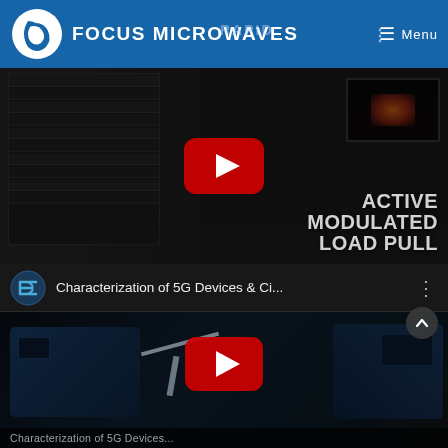FOCUS MICROWAVES — Menu
[Figure (screenshot): Video thumbnail for Active Modulated Load Pull with YouTube play button overlay and equipment in background]
[Figure (screenshot): Video thumbnail for Characterization of 5G Devices & Ci... with YouTube play button overlay and blue microwave equipment in background]